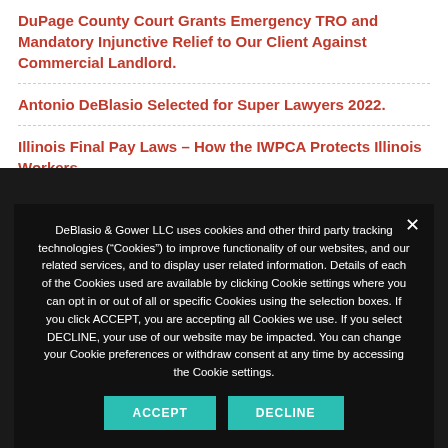DuPage County Court Grants Emergency TRO and Mandatory Injunctive Relief to Our Client Against Commercial Landlord.
Antonio DeBlasio Selected for Super Lawyers 2022.
Illinois Final Pay Laws – How the IWPCA Protects Illinois Workers
DeBlasio & Gower LLC uses cookies and other third party tracking technologies (“Cookies”) to improve functionality of our websites, and our related services, and to display user related information. Details of each of the Cookies used are available by clicking Cookie settings where you can opt in or out of all or specific Cookies using the selection boxes. If you click ACCEPT, you are accepting all Cookies we use. If you select DECLINE, your use of our website may be impacted. You can change your Cookie preferences or withdraw consent at any time by accessing the Cookie settings.
ACCEPT
DECLINE